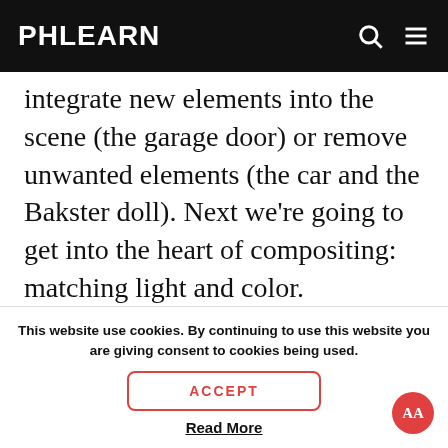PHLEARN
integrate new elements into the scene (the garage door) or remove unwanted elements (the car and the Bakster doll). Next we’re going to get into the heart of compositing: matching light and color.

Take a look at the base Bakster_04 image with the changes that we’ve made. It looks
This website use cookies. By continuing to use this website you are giving consent to cookies being used.
ACCEPT
Read More